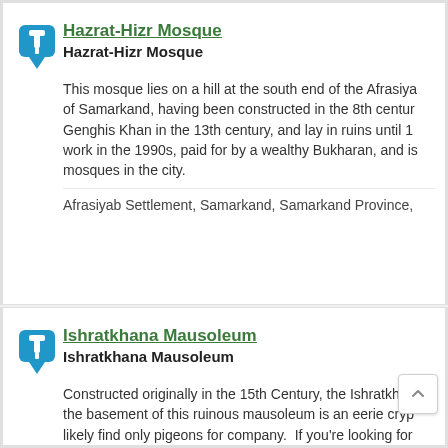[Figure (other): Blue map pin icon with white pushpin symbol]
Hazrat-Hizr Mosque
Hazrat-Hizr Mosque
This mosque lies on a hill at the south end of the Afrasiya of Samarkand, having been constructed in the 8th century, Genghis Khan in the 13th century, and lay in ruins until 1 work in the 1990s, paid for by a wealthy Bukharan, and is mosques in the city.
Afrasiyab Settlement, Samarkand, Samarkand Province,
[Figure (other): Blue map pin icon with white pushpin symbol]
Ishratkhana Mausoleum
Ishratkhana Mausoleum
Constructed originally in the 15th Century, the Ishratkhan the basement of this ruinous mausoleum is an eerie cryp likely find only pigeons for company.  If you're looking for this place fits the bill.
Ishratkhana, Sadriddin Ayniy Street, Samarkand, Samark...